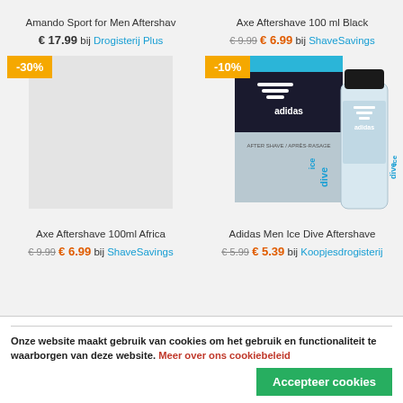Amando Sport for Men Aftershav
€ 17.99 bij Drogisterij Plus
Axe Aftershave 100 ml Black
€ 9.99 € 6.99 bij ShaveSavings
[Figure (photo): Product image area for Axe Aftershave 100ml Africa with -30% discount badge]
[Figure (photo): Adidas Men Ice Dive Aftershave product photo showing box and bottle with -10% discount badge]
Axe Aftershave 100ml Africa
€ 9.99 € 6.99 bij ShaveSavings
Adidas Men Ice Dive Aftershave
€ 5.99 € 5.39 bij Koopjesdrogisterij
Onze website maakt gebruik van cookies om het gebruik en functionaliteit te waarborgen van deze website. Meer over ons cookiebeleid
Accepteer cookies